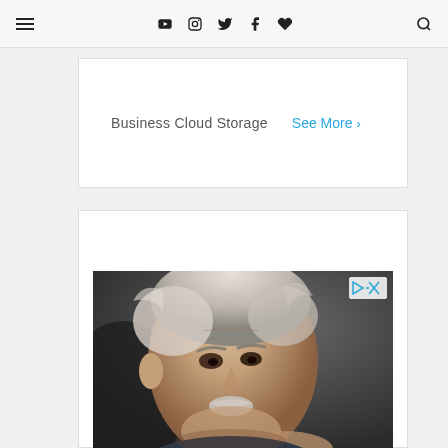Navigation bar with hamburger menu, social icons (YouTube, Instagram, Twitter, Facebook, heart/favorite), and search icon
[Figure (screenshot): Advertisement box with text 'Business Cloud Storage' and 'See More >' link in blue]
[Figure (photo): Black and white photo of an elderly man (resembling Albert Einstein) with white hair and mustache, hands clasped together, against a dark background. AdChoices icon in top-right corner.]